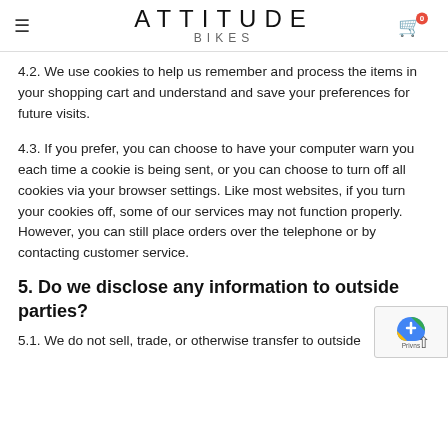ATTITUDE BIKES
4.2. We use cookies to help us remember and process the items in your shopping cart and understand and save your preferences for future visits.
4.3. If you prefer, you can choose to have your computer warn you each time a cookie is being sent, or you can choose to turn off all cookies via your browser settings. Like most websites, if you turn your cookies off, some of our services may not function properly. However, you can still place orders over the telephone or by contacting customer service.
5. Do we disclose any information to outside parties?
5.1. We do not sell, trade, or otherwise transfer to outside